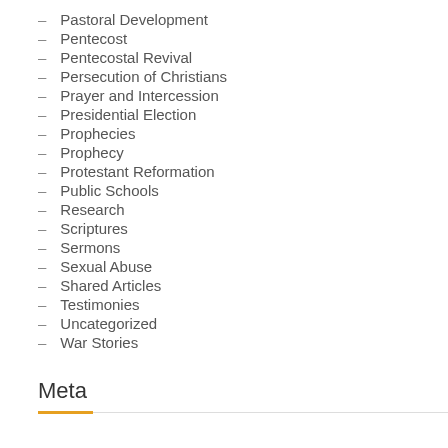Pastoral Development
Pentecost
Pentecostal Revival
Persecution of Christians
Prayer and Intercession
Presidential Election
Prophecies
Prophecy
Protestant Reformation
Public Schools
Research
Scriptures
Sermons
Sexual Abuse
Shared Articles
Testimonies
Uncategorized
War Stories
Meta